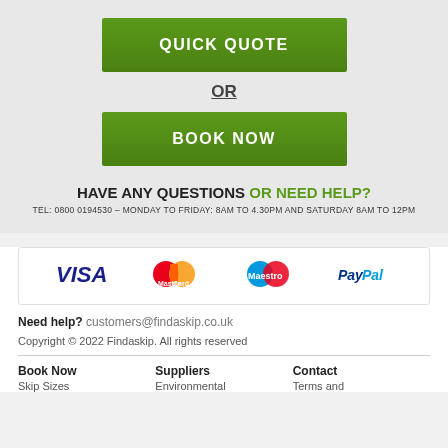QUICK QUOTE
OR
BOOK NOW
HAVE ANY QUESTIONS OR NEED HELP?
TEL: 0800 0194530 – MONDAY TO FRIDAY: 8AM TO 4.30PM AND SATURDAY 8AM TO 12PM
[Figure (logo): Payment logos: VISA, MasterCard, Maestro, PayPal]
Need help? customers@findaskip.co.uk
Copyright © 2022 Findaskip. All rights reserved
Book Now
Suppliers
Contact
Skip Sizes
Environmental
Terms and